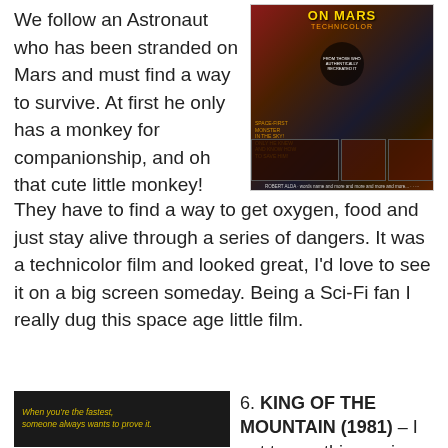We follow an Astronaut who has been stranded on Mars and must find a way to survive. At first he only has a monkey for companionship, and oh that cute little monkey! They have to find a way to get oxygen, food and just stay alive through a series of dangers. It was a technicolor film and looked great, I'd love to see it on a big screen someday. Being a Sci-Fi fan I really dug this space age little film.
[Figure (photo): Movie poster for a Technicolor sci-fi film set on Mars, showing a figure in a space suit with alien imagery and film strip panels at the bottom.]
[Figure (photo): Dark movie still or poster image with text 'When you're the fastest, someone always wants to prove it.']
6. KING OF THE MOUNTAIN (1981) – I got to see this movie...